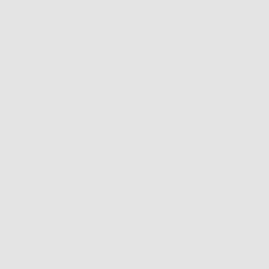If you are really craving something, simple pleasures of food. Take a bit yourself in moderation. If you deny will end up mentally hurting yours it to your friends who will resent it
Mayo can easily be substituted for folks find mayonnaise delicious, th cost in terms of calories and fat. Th decide to eat a sandwich, use some mayonnaise to save yourself some calorie intake by preparing or orde mayonnaise.
You're in a business lunch dilemma lunch, but you don't want to screw you do? Luckily, most restaurants menu items are healthy, some even grams on the menu. If you know w beforehand, visit their website to g need.
Before you start thinking about los to your doctor. This will allow you healthy amount of weight to lose is weight should be. The doctor will a helpful information, relating to you